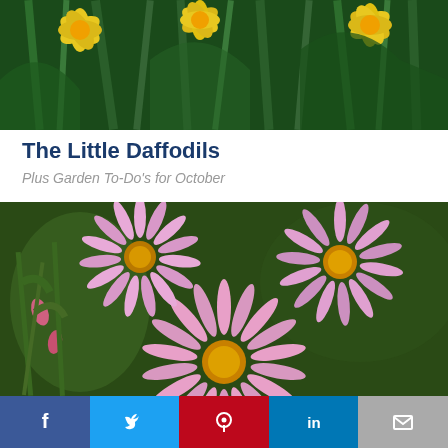[Figure (photo): Close-up photo of yellow daffodil flowers with green stems and leaves against a garden background]
The Little Daffodils
Plus Garden To-Do's for October
[Figure (photo): Close-up photo of pink aster flowers with yellow centers against a green garden background]
[Figure (infographic): Social media sharing bar with Facebook, Twitter, Pinterest, LinkedIn, and Email buttons]